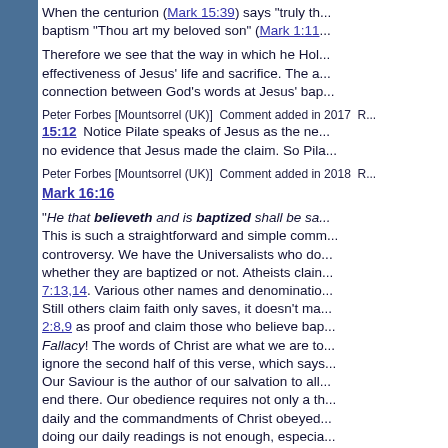When the centurion (Mark 15:39) says "truly th... baptism "Thou art my beloved son" (Mark 1:11...
Therefore we see that the way in which he Hol... effectiveness of Jesus' life and sacrifice. The a... connection between God's words at Jesus' bap...
Peter Forbes [Mountsorrel (UK)]  Comment added in 2017  R... 15:12  Notice Pilate speaks of Jesus as the ne... no evidence that Jesus made the claim. So Pila...
Peter Forbes [Mountsorrel (UK)]  Comment added in 2018  R...
Mark 16:16
"He that believeth and is baptized shall be sa... This is such a straightforward and simple comm... controversy. We have the Universalists who do... whether they are baptized or not. Atheists clain... 7:13,14. Various other names and denominatio... Still others claim faith only saves, it doesn't ma... 2:8,9 as proof and claim those who believe bap... Fallacy! The words of Christ are what we are to... ignore the second half of this verse, which says... Our Saviour is the author of our salvation to all... end there. Our obedience requires not only a th... daily and the commandments of Christ obeyed... doing our daily readings is not enough, especia... reading, we don't even remember what we rea... We have the injunction, "Let us go on unto per... 5:6; Eph 4:19,20; Col 1:9,10; 2Tim 2:15; 2Pet 3... bible study and prayer, in order to be able to be... perseverance (cf. James 5:7-11). After baptism...